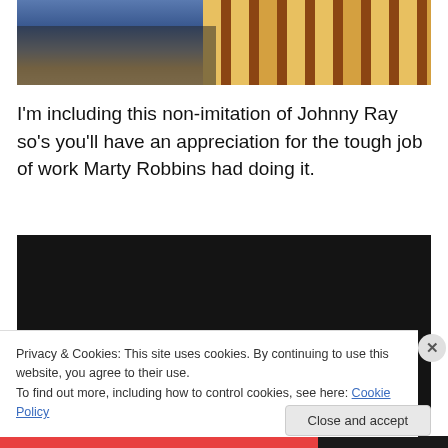[Figure (photo): A person in blue clothing near what appears to be a piano keyboard with yellow and brown keys visible on the right side of the image.]
I'm including this non-imitation of Johnny Ray so's you'll have an appreciation for the tough job of work Marty Robbins had doing it.
[Figure (screenshot): A dark/black video player embed area.]
Privacy & Cookies: This site uses cookies. By continuing to use this website, you agree to their use.
To find out more, including how to control cookies, see here: Cookie Policy
Close and accept